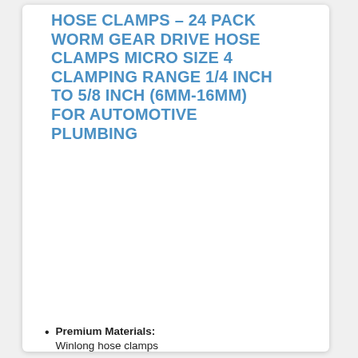HOSE CLAMPS – 24 PACK WORM GEAR DRIVE HOSE CLAMPS MICRO SIZE 4 CLAMPING RANGE 1/4 INCH TO 5/8 INCH (6MM-16MM) FOR AUTOMOTIVE PLUMBING
[Figure (photo): Photo showing 24 small stainless steel worm gear hose clamps arranged in a 6x4 grid]
Premium Materials: Winlong hose clamps